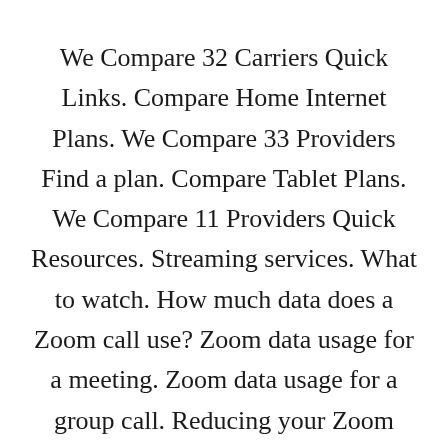We Compare 32 Carriers Quick Links. Compare Home Internet Plans. We Compare 33 Providers Find a plan. Compare Tablet Plans. We Compare 11 Providers Quick Resources. Streaming services. What to watch. How much data does a Zoom call use? Zoom data usage for a meeting. Zoom data usage for a group call. Reducing your Zoom meeting data usage.
Data usage for common activities. Struggling